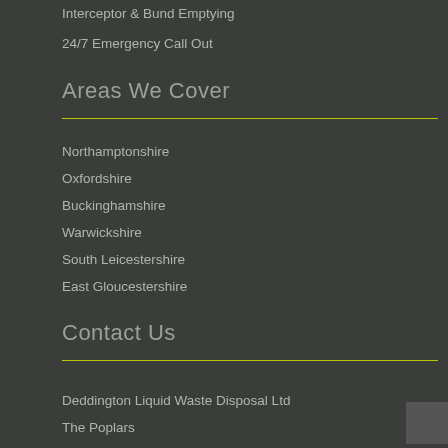Interceptor & Bund Emptying
24/7 Emergency Call Out
Areas We Cover
Northamptonshire
Oxfordshire
Buckinghamshire
Warwickshire
South Leicestershire
East Gloucestershire
Contact Us
Deddington Liquid Waste Disposal Ltd
The Poplars